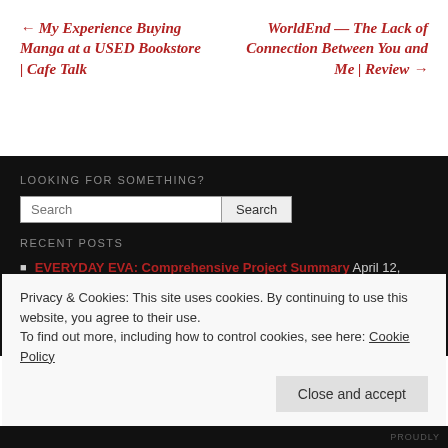← My Experience Buying Manga at a USED Bookstore | Cafe Talk
WorldEnd — The Lack of Connection Between You and Me | Review →
LOOKING FOR SOMETHING?
Search [input] Search [button]
RECENT POSTS
EVERYDAY EVA: Comprehensive Project Summary April 12, 2022
EVERYDAY EVA: 3.0+1.0 – The Joy of Evangelion | Mecha March March 31, 2022
Privacy & Cookies: This site uses cookies. By continuing to use this website, you agree to their use.
To find out more, including how to control cookies, see here: Cookie Policy
Close and accept